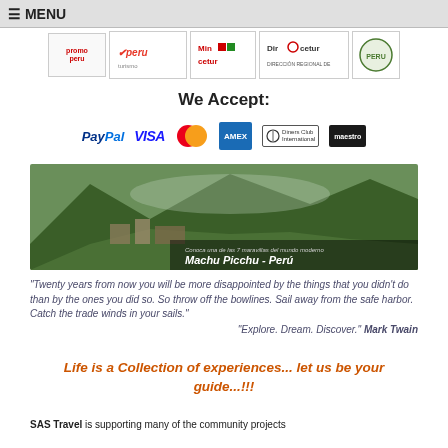≡ MENU
[Figure (logo): Row of certification/partner logos: PromPeru, MinCetur, DirCetur, and one additional organization logo]
We Accept:
[Figure (infographic): Payment method logos: PayPal, VISA, Mastercard, American Express, Diners Club International, Maestro]
[Figure (photo): Photo of Machu Picchu - Peru, with caption 'Conoca una de las 7 maravillas del mundo moderno' and 'Machu Picchu - Perú']
"Twenty years from now you will be more disappointed by the things that you didn't do than by the ones you did so. So throw off the bowlines. Sail away from the safe harbor. Catch the trade winds in your sails."
"Explore. Dream. Discover." Mark Twain
Life is a Collection of experiences... let us be your guide...!!!
SAS Travel is supporting many of the community projects